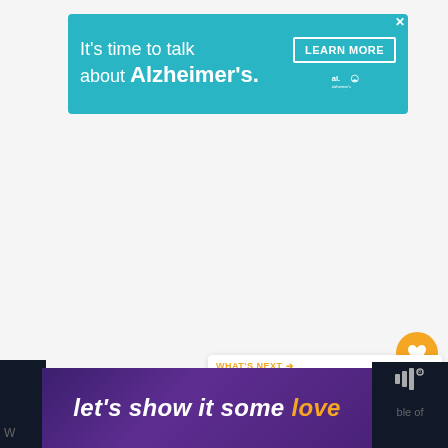[Figure (screenshot): Alzheimer's Association advertisement banner in teal/cyan color. Text reads "It's time to talk about Alzheimer's." with a LEARN MORE button and alzheimer's association logo. Close X button in top right corner.]
[Figure (screenshot): Floating action button group on right side: orange heart/like button, count badge showing '1', and white share button with share icon.]
[Figure (screenshot): What's Next card showing thumbnail image and text 'Traeger vs Cookshack...' with orange arrow header 'WHAT'S NEXT →']
[Figure (screenshot): Bottom advertisement bar on dark purple/navy background with text 'let's show it some love' in white and orange italic text. Mute/sound icon on right.]